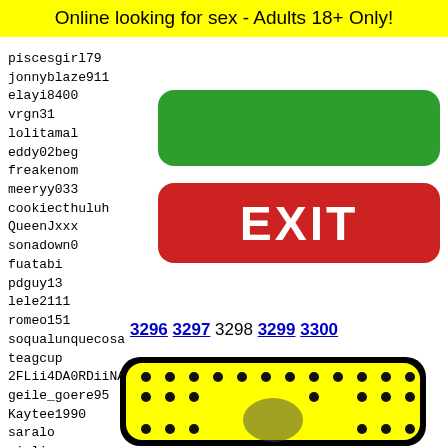Online looking for sex - Adults 18+ Only!
piscesgirl79
jonnyblaze911
elayi8400
vrgn31
lolitamal
eddy02beg
freakenom
meeryy033
cookiecthuluh
QueenJxxx
sonadown0
fuatabi
pdguy13
lele2111
romeo151
soqualunquecosa
teagcup
2FLii4DA0RDiiNARii
geile_goere95
Kaytee1990
saralo
giulia
fallen
federi
carlos
lillyi
[Figure (other): Green rounded rectangle button]
[Figure (other): Red rounded rectangle EXIT button with white EXIT text]
3296 3297 3298 3299 3300
[Figure (illustration): Snapchat ghost logo on yellow background with black border and dots pattern]